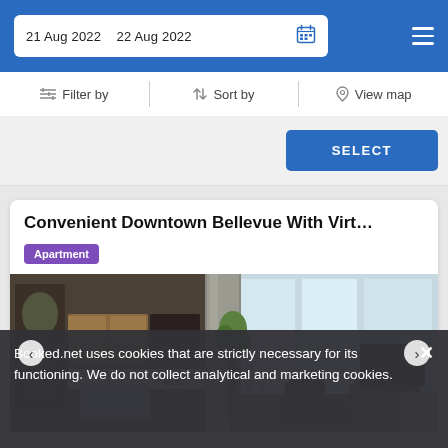21 Aug 2022  22 Aug 2022
Filter by  |  Sort by  |  View map
SELECT
Convenient Downtown Bellevue With Virt…
Apartment
[Figure (photo): Interior photo of a modern apartment showing kitchen with stainless steel sink and countertops, a cylindrical concrete column, a potted tree, large floor-to-ceiling windows with city/nature view, and living area with dark furniture and a TV/monitor.]
Booked.net uses cookies that are strictly necessary for its functioning. We do not collect analytical and marketing cookies.